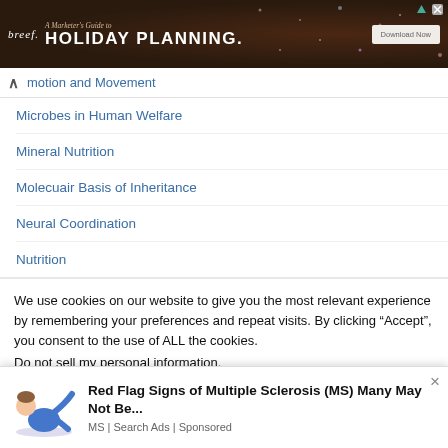[Figure (screenshot): Advertisement banner for breef. - A Marketer's Guide to Holiday Planning with Download Now button]
motion and Movement
Microbes in Human Welfare
Mineral Nutrition
Molecuair Basis of Inheritance
Neural Coordination
Nutrition
We use cookies on our website to give you the most relevant experience by remembering your preferences and repeat visits. By clicking “Accept”, you consent to the use of ALL the cookies.
Do not sell my personal information.
[Figure (screenshot): Bottom advertisement: Red Flag Signs of Multiple Sclerosis (MS) Many May Not Be... MS | Search Ads | Sponsored]